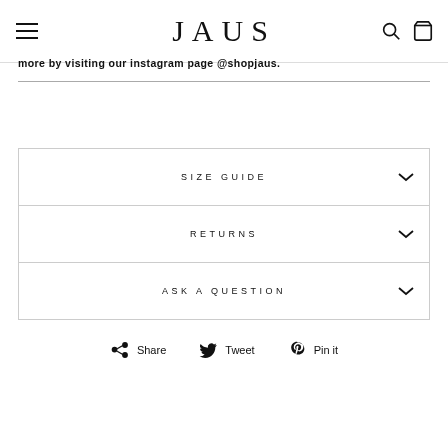JAUS
more by visiting our instagram page @shopjaus.
SIZE GUIDE
RETURNS
ASK A QUESTION
Share  Tweet  Pin it